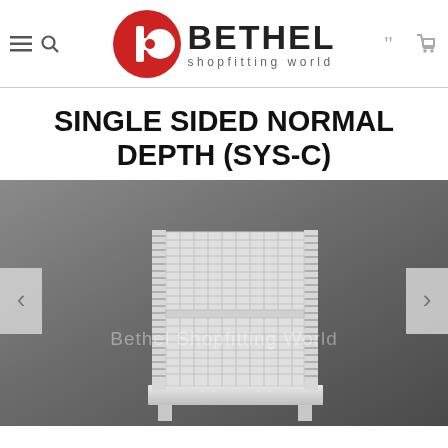Bethel Shopfitting World
SINGLE SIDED NORMAL DEPTH (SYS-C)
[Figure (photo): A single sided normal depth shelving unit (SYS-C) displayed against a grey background. The unit is white metal with a gridded mesh back panel and a solid base shelf, supported by two upright slotted columns. Navigation arrows visible on left and right sides of the image. Bethel Shopfitting World watermark overlaid on photo.]